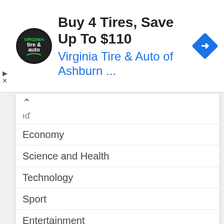[Figure (screenshot): Advertisement banner for Virginia Tire & Auto of Ashburn with logo, headline 'Buy 4 Tires, Save Up To $110', subheadline 'Virginia Tire & Auto of Ashburn ...', and a blue diamond navigation arrow icon]
Economy
Science and Health
Technology
Sport
Entertainment
Contact Form
Pages
About Us
DMCA
Contact Form